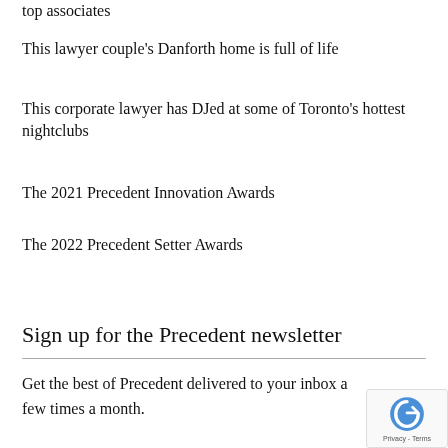top associates
This lawyer couple's Danforth home is full of life
This corporate lawyer has DJed at some of Toronto's hottest nightclubs
The 2021 Precedent Innovation Awards
The 2022 Precedent Setter Awards
Sign up for the Precedent newsletter
Get the best of Precedent delivered to your inbox a few times a month.